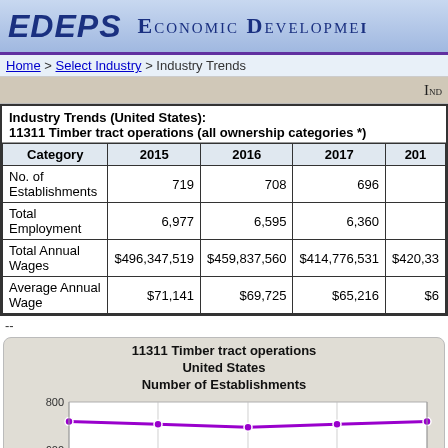EDEPS  Economic Development...
Home > Select Industry > Industry Trends
Ind...
| Category | 2015 | 2016 | 2017 | 201... |
| --- | --- | --- | --- | --- |
| No. of Establishments | 719 | 708 | 696 |  |
| Total Employment | 6,977 | 6,595 | 6,360 |  |
| Total Annual Wages | $496,347,519 | $459,837,560 | $414,776,531 | $420,33... |
| Average Annual Wage | $71,141 | $69,725 | $65,216 | $6... |
--
[Figure (line-chart): 11311 Timber tract operations United States Number of Establishments]